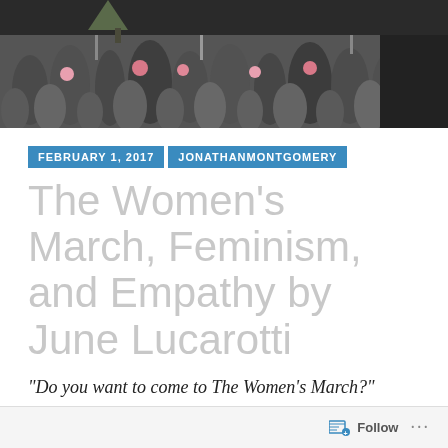[Figure (photo): Aerial view of a large crowd at a protest or march, with people holding signs and wearing pink hats.]
FEBRUARY 1, 2017   JONATHANMONTGOMERY
The Women's March, Feminism, and Empathy by June Lucarotti
“Do you want to come to The Women’s March?”
“I’m a guy.”
[Figure (other): Bottom bar with Follow button and menu dots]